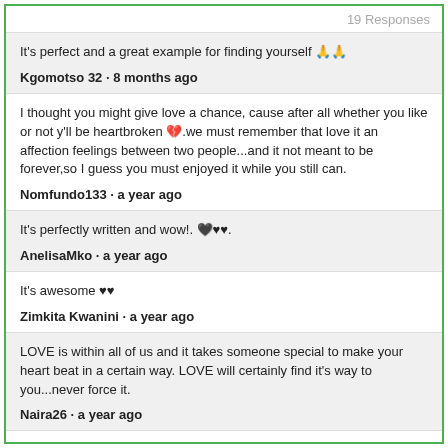19 Responses
It's perfect and a great example for finding yourself 🙏🙏
Kgomotso 32 · 8 months ago
I thought you might give love a chance, cause after all whether you like or not y'll be heartbroken 💔.we must remember that love it an affection feelings between two people...and it not meant to be forever,so I guess you must enjoyed it while you still can.
Nomfundo133 · a year ago
It's perfectly written and wow!. 🖤♥♥.
AnelisaMko · a year ago
It's awesome ♥♥
Zimkita Kwanini · a year ago
LOVE is within all of us and it takes someone special to make your heart beat in a certain way. LOVE will certainly find it's way to you...never force it.
Naira26 · a year ago